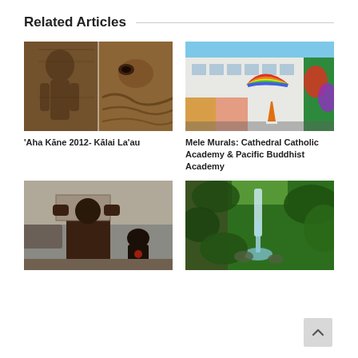Related Articles
[Figure (photo): Two carved wooden Hawaiian figures/statues — 'Aha Kane 2012 woodcarving]
'Aha Kāne 2012- Kālai La'au
[Figure (photo): Building exterior with colorful murals — rainbow and tropical scenes — Cathedral Catholic Academy & Pacific Buddhist Academy]
Mele Murals: Cathedral Catholic Academy & Pacific Buddhist Academy
[Figure (photo): Man lifting a large stone block outdoors, with another person visible in background]
[Figure (photo): Lush green tropical waterfall scene with dense foliage]